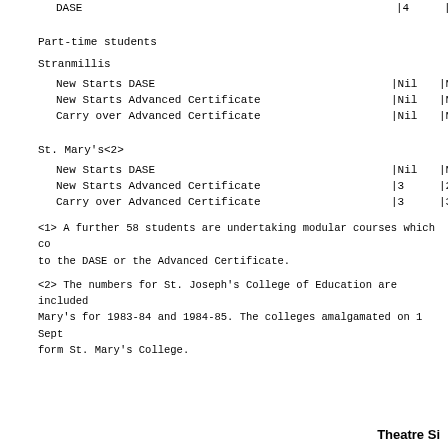|  | col1 | col2 | col3 | col4 |
| --- | --- | --- | --- | --- |
| DASE | |4 | |6 | |7 | |7 |
Part-time students
Stranmillis
|  |  |  |  |  |
| --- | --- | --- | --- | --- |
| New Starts DASE | |Nil | |Nil | |Nil | |Nil |
| New Starts Advanced Certificate | |Nil | |Nil | |25 | |10 |
| Carry over Advanced Certificate | |Nil | |Nil | |Nil | |25 |
St. Mary's<2>
|  |  |  |  |  |
| --- | --- | --- | --- | --- |
| New Starts DASE | |Nil | |Nil | |Nil | |Nil |
| New Starts Advanced Certificate | |3 | |2 | |13 | |Nil |
| Carry over Advanced Certificate | |3 | |3 | |Nil | |13 |
<1> A further 58 students are undertaking modular courses which co to the DASE or the Advanced Certificate.
<2> The numbers for St. Joseph's College of Education are included Mary's for 1983-84 and 1984-85. The colleges amalgamated on 1 Sept form St. Mary's College.
Theatre Si